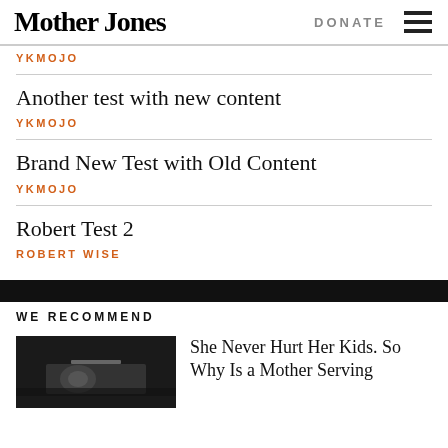Mother Jones | DONATE
YKMOJO
Another test with new content
YKMOJO
Brand New Test with Old Content
YKMOJO
Robert Test 2
ROBERT WISE
WE RECOMMEND
[Figure (photo): Dark photo of hands]
She Never Hurt Her Kids. So Why Is a Mother Serving